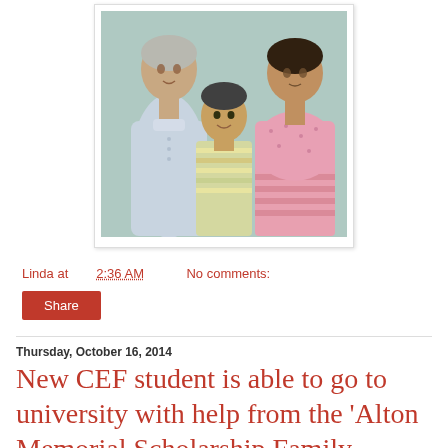[Figure (photo): Three people standing against a light teal/green wall: an elderly woman on the left in a light blue traditional outfit, a young child in the center wearing a striped green/yellow shirt, and a middle-aged woman on the right in a pink patterned top and pink striped skirt.]
Linda at 2:36 AM    No comments:
Share
Thursday, October 16, 2014
New CEF student is able to go to university with help from the 'Alton Memorial Scholarship Family...